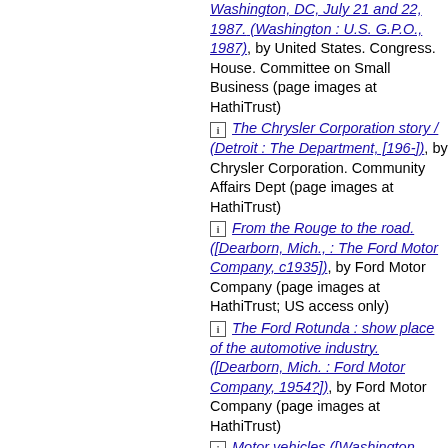Washington, DC, July 21 and 22, 1987. (Washington : U.S. G.P.O., 1987), by United States. Congress. House. Committee on Small Business (page images at HathiTrust)
[i] The Chrysler Corporation story / (Detroit : The Department, [196-]), by Chrysler Corporation. Community Affairs Dept (page images at HathiTrust)
[i] From the Rouge to the road. ([Dearborn, Mich., : The Ford Motor Company, c1935]), by Ford Motor Company (page images at HathiTrust; US access only)
[i] The Ford Rotunda : show place of the automotive industry. ([Dearborn, Mich. : Ford Motor Company, 1954?]), by Ford Motor Company (page images at HathiTrust)
[i] Motor vehicles ([Washington, 1944]), by Association of...